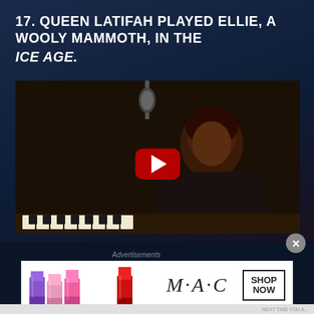17. QUEEN LATIFAH PLAYED ELLIE, A WOOLY MAMMOTH, IN THE ICE AGE.
[Figure (screenshot): YouTube video thumbnail showing Queen Latifah in a recording studio, with a Beats logo and video title 'Ice Age: Collision Course: Queen La...' in the top bar, and a red YouTube play button in the center]
Advertisements
[Figure (photo): MAC Cosmetics advertisement banner showing colorful lipsticks (purple, pink, red) alongside the MAC logo in italic script and a 'SHOP NOW' box]